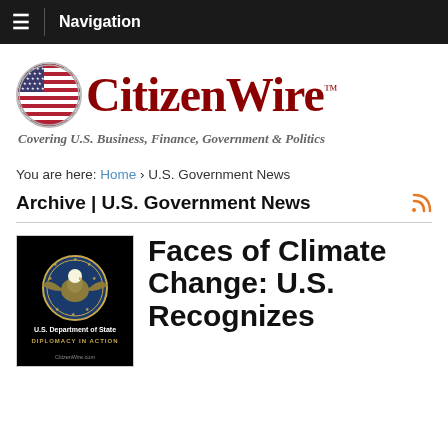Navigation
[Figure (logo): CitizenWire logo with US flag circle and tagline: Covering U.S. Business, Finance, Government & Politics]
You are here: Home › U.S. Government News
Archive | U.S. Government News
[Figure (photo): U.S. Department of State - Diplomacy in Action seal on black background, CitizenWire.com watermark]
Faces of Climate Change: U.S. Recognizes